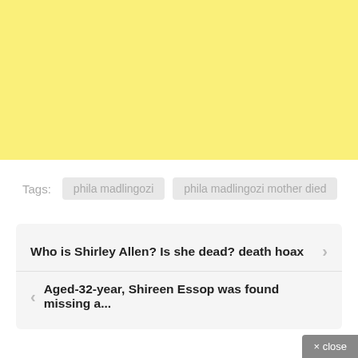[Figure (other): Yellow banner/advertisement placeholder area]
Tags: phila madlingozi   phila madlingozi mother died
Who is Shirley Allen? Is she dead? death hoax
Aged-32-year, Shireen Essop was found missing a...
× close